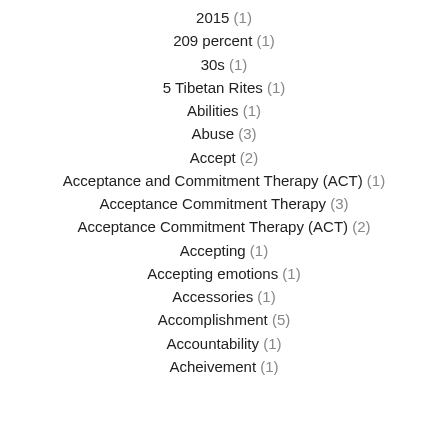2015 (1)
209 percent (1)
30s (1)
5 Tibetan Rites (1)
Abilities (1)
Abuse (3)
Accept (2)
Acceptance and Commitment Therapy (ACT) (1)
Acceptance Commitment Therapy (3)
Acceptance Commitment Therapy (ACT) (2)
Accepting (1)
Accepting emotions (1)
Accessories (1)
Accomplishment (5)
Accountability (1)
Acheivement (1)